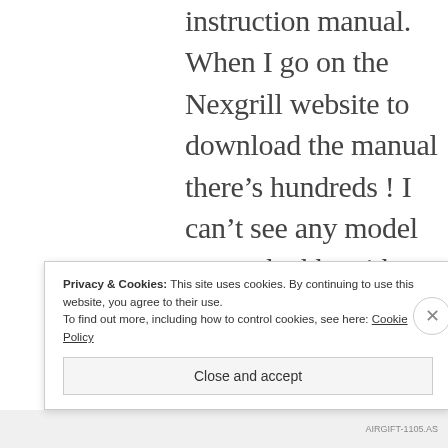instruction manual. When I go on the Nexgrill website to download the manual there's hundreds ! I can't see any model no on the bbq either. Do you know the model no and hopefully I can try and get the manual from somewhere and start
Privacy & Cookies: This site uses cookies. By continuing to use this website, you agree to their use.
To find out more, including how to control cookies, see here: Cookie Policy
Close and accept